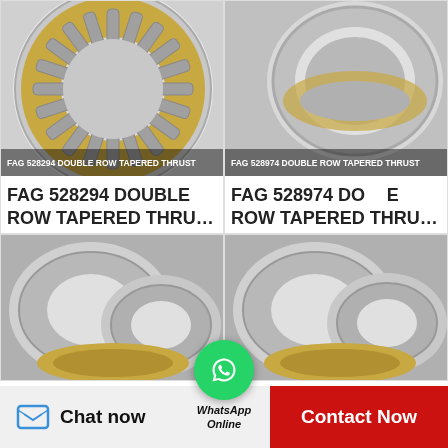[Figure (photo): FAG 528294 double row tapered thrust bearing, golden cage with cylindrical rollers arranged in circle, top-down view]
FAG 528294 DOUBLE ROW TAPERED THRU...
FAG 528294 DOUBLE ROW TAPERED THRU...
[Figure (photo): FAG 528974 double row tapered thrust bearing, silver metallic rings, cross-section view]
FAG 528974 DOUBLE ROW TAPERED THRU...
FAG 528974 DOUBLE ROW TAPERED THRU...
[Figure (photo): Tapered thrust bearing components disassembled showing two rings and roller cage assembly, silver and gold colors]
[Figure (photo): Tapered thrust bearing components disassembled showing two rings and roller cage assembly, silver and gold colors]
[Figure (other): WhatsApp Online contact bubble overlay]
Chat now
Contact Now